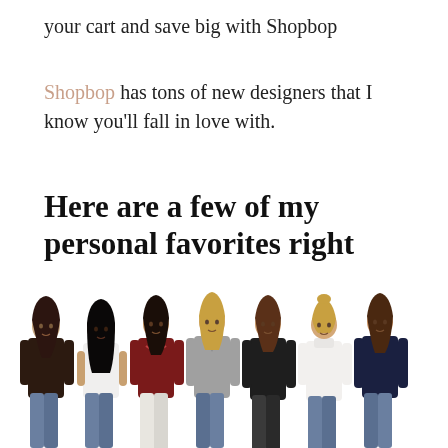your cart and save big with Shopbop
Shopbop has tons of new designers that I know you'll fall in love with.
Here are a few of my personal favorites right now...
[Figure (photo): Seven female models standing in a row, each wearing different tops including dark brown long-sleeve, white tank, burgundy ruffled top, grey v-neck sweater, dark long-sleeve, white mockneck, and navy long-sleeve. All wearing jeans or light pants.]